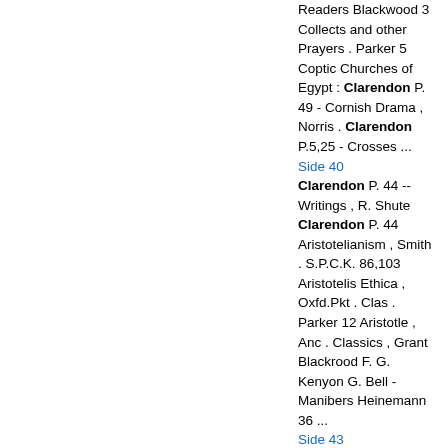Readers Blackwood 3 Collects and other Prayers . Parker 5 Coptic Churches of Egypt : Clarendon P. 49 - Cornish Drama , Norris . Clarendon P.5,25 - Crosses ... Side 40 Clarendon P. 44 -- Writings , R. Shute Clarendon P. 44 Aristotelianism , Smith . S.P.C.K. 86,103 Aristotelis Ethica , Oxfd.Pkt . Clas . Parker 12 Aristotle , Anc . Classics , Grant Blackrood F. G. Kenyon G. Bell - Manibers Heinemann 36 ... Side 43 Clarendon P. 13 ( E. L. ) Advts.Phra Phoenician